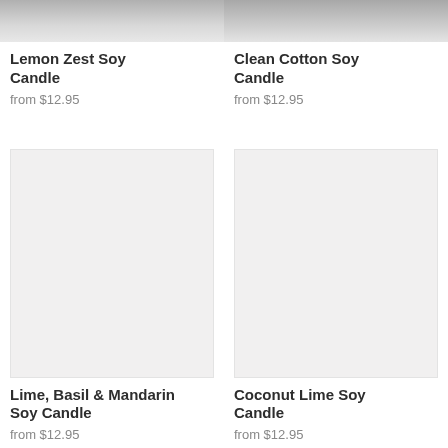[Figure (photo): Partially visible product image of Lemon Zest Soy Candle]
Lemon Zest Soy Candle
from $12.95
[Figure (photo): Partially visible product image of Clean Cotton Soy Candle]
Clean Cotton Soy Candle
from $12.95
[Figure (photo): Blank placeholder image for Lime, Basil & Mandarin Soy Candle]
Lime, Basil & Mandarin Soy Candle
from $12.95
[Figure (photo): Blank placeholder image for Coconut Lime Soy Candle]
Coconut Lime Soy Candle
from $12.95